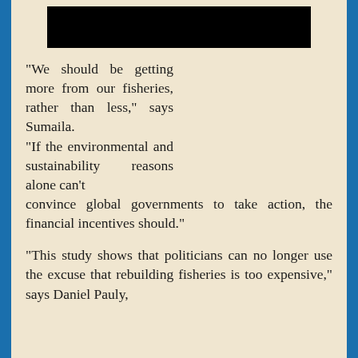[Figure (other): Black redacted/image bar at top center of page]
"We should be getting more from our fisheries, rather than less," says Sumaila. "If the environmental and sustainability reasons alone can't convince global governments to take action, the financial incentives should."
"This study shows that politicians can no longer use the excuse that rebuilding fisheries is too expensive," says Daniel Pauly,